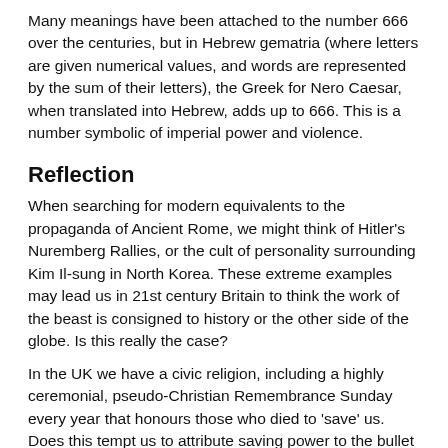Many meanings have been attached to the number 666 over the centuries, but in Hebrew gematria (where letters are given numerical values, and words are represented by the sum of their letters), the Greek for Nero Caesar, when translated into Hebrew, adds up to 666. This is a number symbolic of imperial power and violence.
Reflection
When searching for modern equivalents to the propaganda of Ancient Rome, we might think of Hitler's Nuremberg Rallies, or the cult of personality surrounding Kim Il-sung in North Korea. These extreme examples may lead us in 21st century Britain to think the work of the beast is consigned to history or the other side of the globe. Is this really the case?
In the UK we have a civic religion, including a highly ceremonial, pseudo-Christian Remembrance Sunday every year that honours those who died to 'save' us. Does this tempt us to attribute saving power to the bullet and nuclear missile instead of God alone?